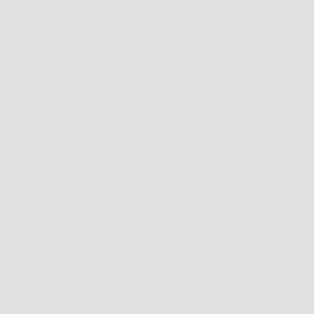[[We conducted various f
Members: A.C. Blanco, Y.
~''Aug 18 - Aug 20''&br;
[[Ms. Nina Yasuda won a
~''July 13 - July 30''&b
We conducted field obser
~''Jun 24''&br;
We went to the National
~''Jan 27''&br;
This journal paper was a
"Yasuda, N., M.Hamaguchi
Full text here:http://ww
Description: Complete mi
*2005 [#e78be59f]
~''Sep 12 - Oct 9''&br;
We conducted field obser
members: M.Rubio, A.Blan
The purpose&br;
Recently, the water qual
The features&br;
1. This project is condu
2. This project is an in
~''Aug 18 - 29''&br;
Research Work in [[Fiji